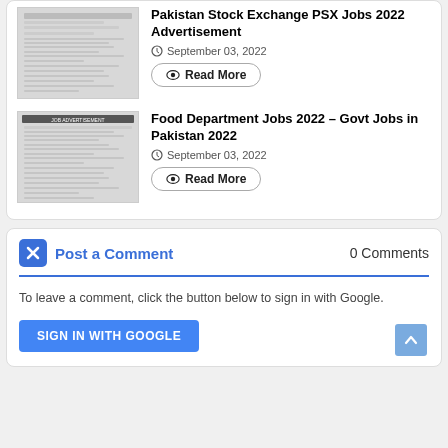[Figure (screenshot): Thumbnail of Pakistan Stock Exchange PSX Jobs 2022 Advertisement document]
Pakistan Stock Exchange PSX Jobs 2022 Advertisement
September 03, 2022
Read More
[Figure (screenshot): Thumbnail of Food Department Jobs 2022 – Govt Jobs in Pakistan 2022 document with JOB ADVERTISEMENT header]
Food Department Jobs 2022 – Govt Jobs in Pakistan 2022
September 03, 2022
Read More
Post a Comment
0 Comments
To leave a comment, click the button below to sign in with Google.
SIGN IN WITH GOOGLE